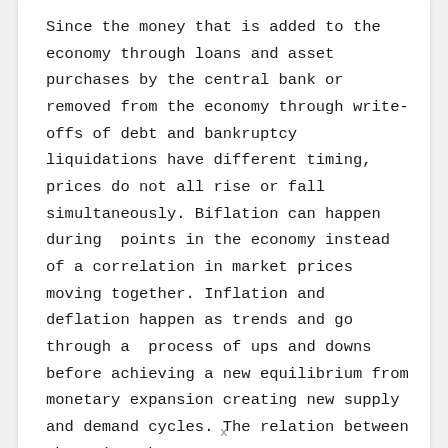Since the money that is added to the economy through loans and asset purchases by the central bank or removed from the economy through write-offs of debt and bankruptcy liquidations have different timing, prices do not all rise or fall simultaneously. Biflation can happen during  points in the economy instead of a correlation in market prices moving together. Inflation and deflation happen as trends and go through a  process of ups and downs before achieving a new equilibrium from monetary expansion creating new supply and demand cycles. The relation between the price changes
x